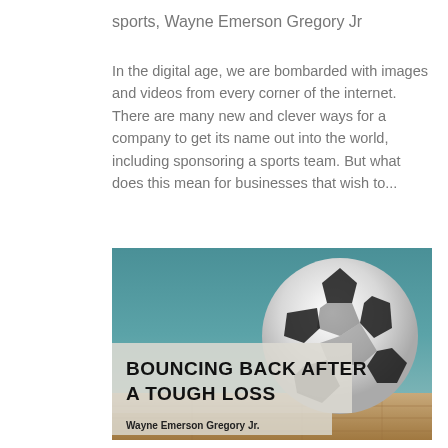sports, Wayne Emerson Gregory Jr
In the digital age, we are bombarded with images and videos from every corner of the internet. There are many new and clever ways for a company to get its name out into the world, including sponsoring a sports team. But what does this mean for businesses that wish to...
[Figure (photo): Book or article cover image showing a soccer ball with text overlay reading 'BOUNCING BACK AFTER A TOUGH LOSS' and author name 'Wayne Emerson Gregory Jr.' on a teal/wooden floor background.]